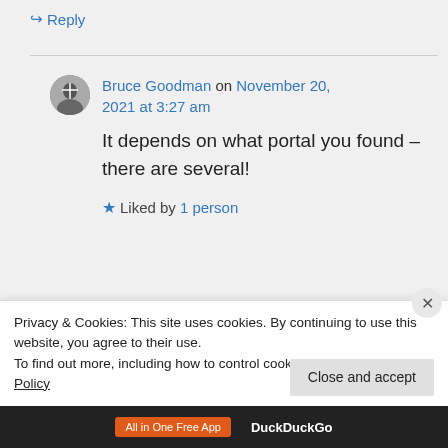↪ Reply
Bruce Goodman on November 20, 2021 at 3:27 am
It depends on what portal you found – there are several!
★ Liked by 1 person
↪ Reply
Privacy & Cookies: This site uses cookies. By continuing to use this website, you agree to their use.
To find out more, including how to control cookies, see here: Cookie Policy
Close and accept